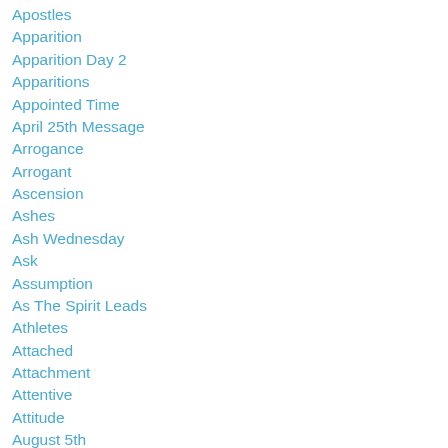Apostles
Apparition
Apparition Day 2
Apparitions
Appointed Time
April 25th Message
Arrogance
Arrogant
Ascension
Ashes
Ash Wednesday
Ask
Assumption
As The Spirit Leads
Athletes
Attached
Attachment
Attentive
Attitude
August 5th